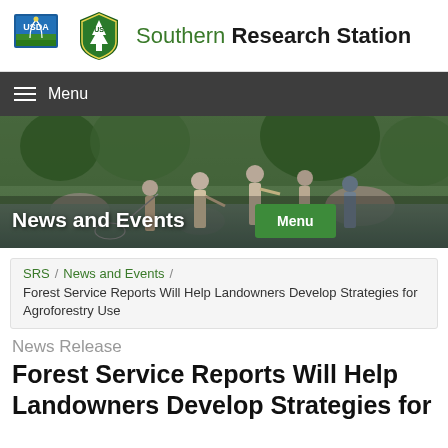Southern Research Station
Menu
[Figure (photo): People wading in a stream doing field research, News and Events hero image]
SRS / News and Events / Forest Service Reports Will Help Landowners Develop Strategies for Agroforestry Use
News Release
Forest Service Reports Will Help Landowners Develop Strategies for